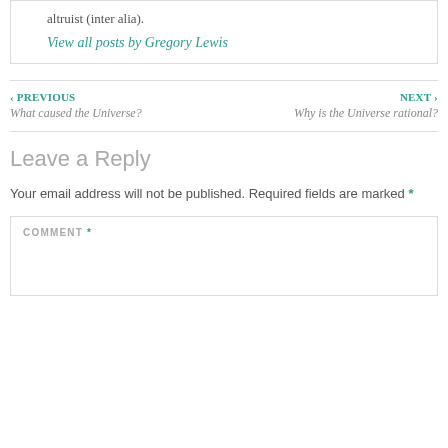altruist (inter alia).
View all posts by Gregory Lewis
‹ PREVIOUS
What caused the Universe?
NEXT ›
Why is the Universe rational?
Leave a Reply
Your email address will not be published. Required fields are marked *
COMMENT *